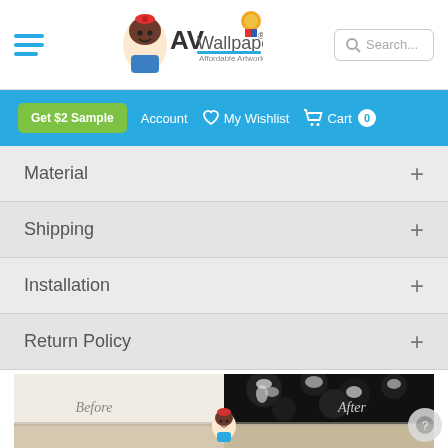[Figure (screenshot): E-commerce website header with hamburger menu icon on the left, AV Wallpaper logo in the center, and a search box on the right]
[Figure (screenshot): Blue navigation bar with green 'Get $2 Sample' button, Account, heart/My Wishlist icon, and Cart with 0 badge]
Material +
Shipping +
Installation +
Return Policy +
[Figure (photo): Before and After room transformation photo showing a dark floral wallpaper mural installed on the wall, with a cartoon mascot character overlaid in the center holding a paint brush]